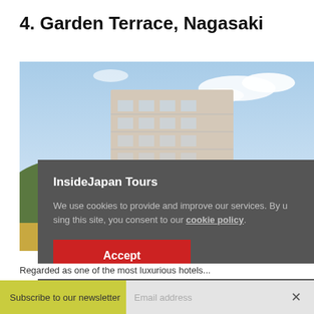4. Garden Terrace, Nagasaki
[Figure (photo): Photograph of Garden Terrace Nagasaki building viewed from below against a blue sky with clouds, with golden grass/field visible in lower left]
InsideJapan Tours
We use cookies to provide and improve our services. By using this site, you consent to our cookie policy.
Accept
Regarded as one of the most luxurious hotels...
Subscribe to our newsletter   Email address  ✕